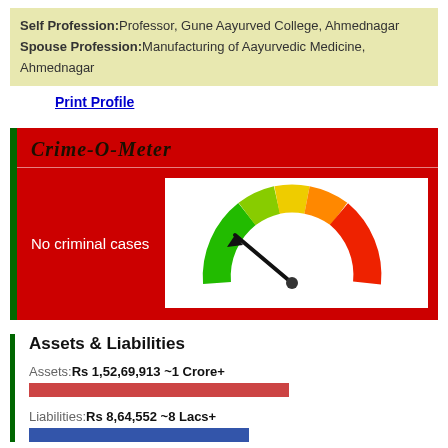Self Profession: Professor, Gune Aayurved College, Ahmednagar
Spouse Profession: Manufacturing of Aayurvedic Medicine, Ahmednagar
Print Profile
Crime-O-Meter
No criminal cases
[Figure (infographic): Gauge/speedometer showing needle pointing to green (low/no crime) end. Gauge arc goes from green on left to red on right.]
Assets & Liabilities
Assets: Rs 1,52,69,913 ~1 Crore+
Liabilities: Rs 8,64,552 ~8 Lacs+